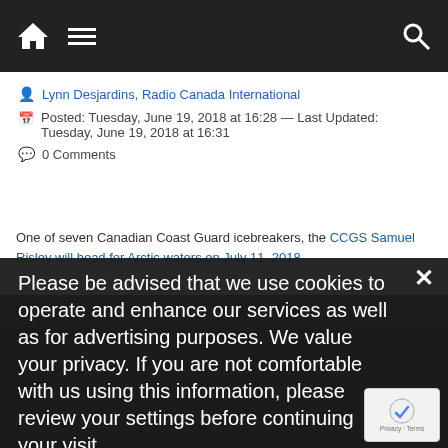Navigation bar with home, menu, and search icons
Lynn Desjardins, Radio Canada International
Posted: Tuesday, June 19, 2018 at 16:28 — Last Updated: Tuesday, June 19, 2018 at 16:31
0 Comments
One of seven Canadian Coast Guard icebreakers, the CCGS Samuel Risley will head for Arctic waters on July 11, 2018
Please be advised that we use cookies to operate and enhance our services as well as for advertising purposes. We value your privacy. If you are not comfortable with us using this information, please review your settings before continuing your visit.
Manage your navigation settings
Find out more
[Figure (screenshot): A person sitting down, photo background behind cookie consent overlay]
[Figure (other): reCAPTCHA badge with Privacy and Terms text]